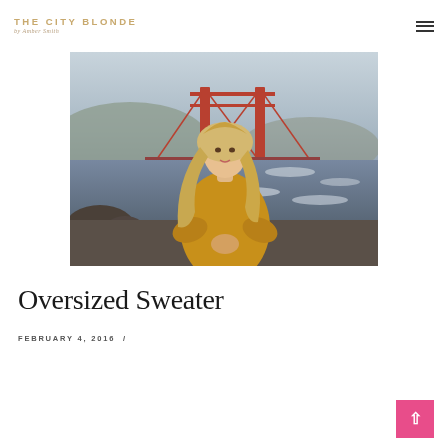THE CITY BLONDE by Amber Smith
[Figure (photo): Woman with long blonde hair wearing an oversized mustard/golden sweater, standing in front of the Golden Gate Bridge with rocky shoreline and choppy water. Cloudy/foggy day.]
Oversized Sweater
FEBRUARY 4, 2016  /